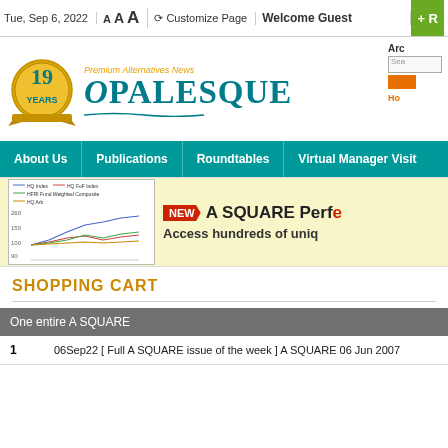Tue, Sep 6, 2022   A A A   Customize Page   Welcome Guest
[Figure (logo): Opalesque logo with gold '19 YEARS' badge and teal brand name 'OPALESQUE' with tagline 'Premium Alternatives News']
About Us   Publications   Roundtables   Virtual Manager Visit
[Figure (infographic): Banner ad for A SQUARE Performance with a line chart showing index performance and text 'NEW A SQUARE Perfo... Access hundreds of uniq...']
SHOPPING CART
| One entire A SQUARE |
| --- |
| 1 | 06Sep22 [ Full A SQUARE issue of the week ] A SQUARE 06 Jun 2007 |